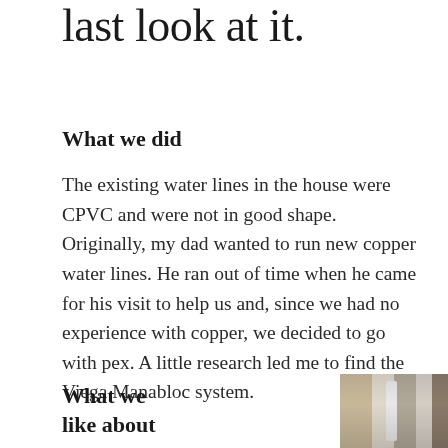last look at it.
What we did
The existing water lines in the house were CPVC and were not in good shape. Originally, my dad wanted to run new copper water lines. He ran out of time when he came for his visit to help us and, since we had no experience with copper, we decided to go with pex. A little research led me to find the Viega Manabloc system.
What we
like about
[Figure (photo): Photo of Viega Manabloc plumbing system installed, showing pex pipes and manifold block against a textured background]